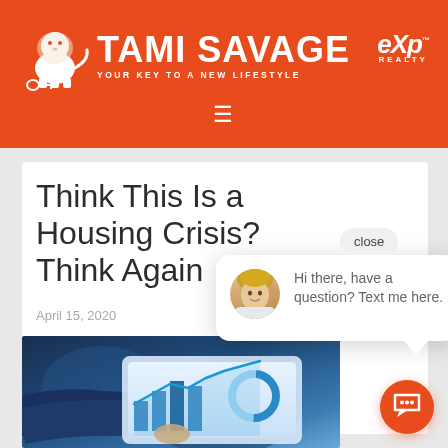[Figure (logo): Tami Savage real estate brand header with lion logo, exp Realty logo on orange background, and hamburger menu icon]
Think This Is a Housing Crisis? Think Again
April 15, 2020
[Figure (photo): Person in dark blue jacket using a tablet with financial charts visible on screen]
[Figure (screenshot): Chat popup with agent avatar photo and text: Hi there, have a question? Text me here. With close button and orange chat bubble button.]